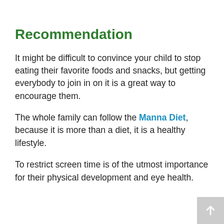Recommendation
It might be difficult to convince your child to stop eating their favorite foods and snacks, but getting everybody to join in on it is a great way to encourage them.
The whole family can follow the Manna Diet, because it is more than a diet, it is a healthy lifestyle.
To restrict screen time is of the utmost importance for their physical development and eye health.